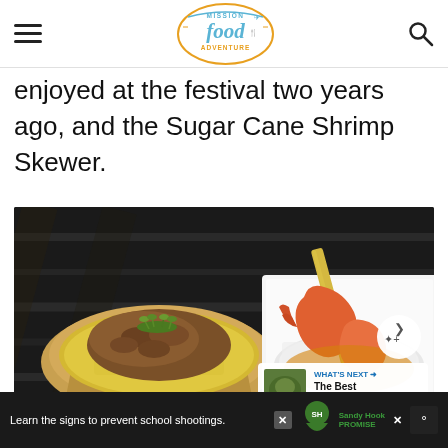Mission Food Adventure (logo, hamburger menu, search icon)
enjoyed at the festival two years ago, and the Sugar Cane Shrimp Skewer.
[Figure (photo): Two festival food dishes on a dark wooden table: left is a kraft paper tray with yellow rice topped with braised meat and microgreens; right is a white square plate with sugar cane shrimp skewer over white rice with sauce.]
Learn the signs to prevent school shootings. Sandy Hook Promise (ad banner)